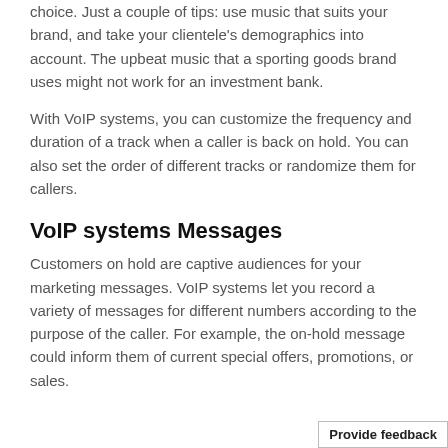choice. Just a couple of tips: use music that suits your brand, and take your clientele's demographics into account. The upbeat music that a sporting goods brand uses might not work for an investment bank.
With VoIP systems, you can customize the frequency and duration of a track when a caller is back on hold. You can also set the order of different tracks or randomize them for callers.
VoIP systems Messages
Customers on hold are captive audiences for your marketing messages. VoIP systems let you record a variety of messages for different numbers according to the purpose of the caller. For example, the on-hold message could inform them of current special offers, promotions, or sales.